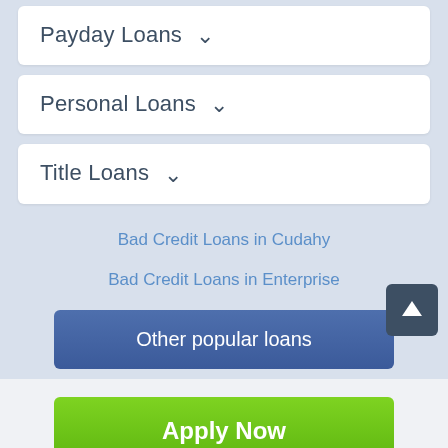Payday Loans
Personal Loans
Title Loans
Bad Credit Loans in Cudahy
Bad Credit Loans in Enterprise
Other popular loans
Apply Now
Applying does NOT affect your credit score! No credit check to apply.